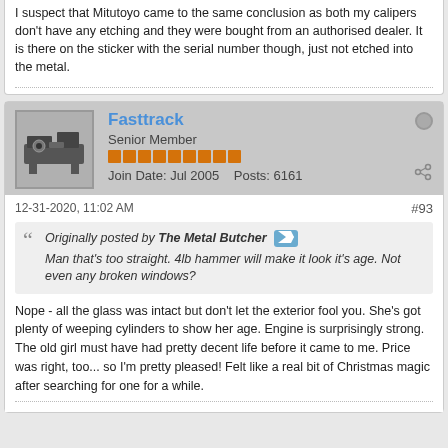I suspect that Mitutoyo came to the same conclusion as both my calipers don't have any etching and they were bought from an authorised dealer. It is there on the sticker with the serial number though, just not etched into the metal.
Fasttrack
Senior Member
Join Date: Jul 2005   Posts: 6161
12-31-2020, 11:02 AM
#93
Originally posted by The Metal Butcher
Man that's too straight. 4lb hammer will make it look it's age. Not even any broken windows?
Nope - all the glass was intact but don't let the exterior fool you. She's got plenty of weeping cylinders to show her age. Engine is surprisingly strong. The old girl must have had pretty decent life before it came to me. Price was right, too... so I'm pretty pleased! Felt like a real bit of Christmas magic after searching for one for a while.